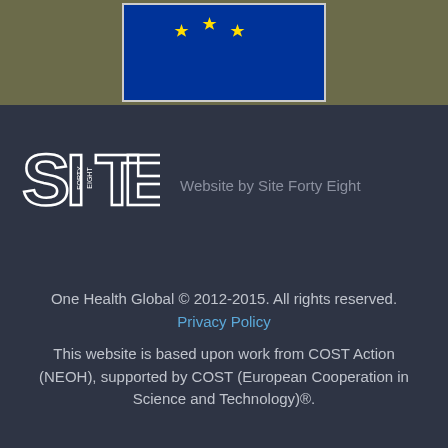[Figure (illustration): EU flag with yellow stars on blue background, shown in top portion of page with olive/khaki background surrounding it]
[Figure (logo): Site Forty Eight logo in white stylized letters]
Website by Site Forty Eight
One Health Global © 2012-2015. All rights reserved. Privacy Policy
This website is based upon work from COST Action (NEOH), supported by COST (European Cooperation in Science and Technology)®.
[Figure (logo): Twitter bird icon button in light blue square]